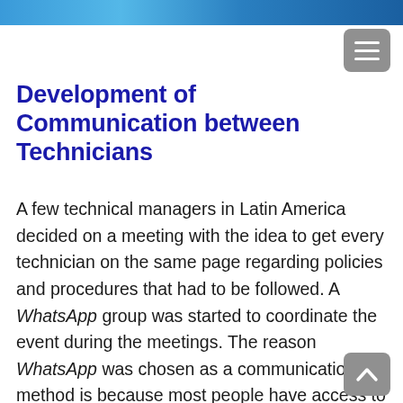[Figure (photo): Partial top image bar showing a photo, cropped at page top]
Development of Communication between Technicians
A few technical managers in Latin America decided on a meeting with the idea to get every technician on the same page regarding policies and procedures that had to be followed. A WhatsApp group was started to coordinate the event during the meetings. The reason WhatsApp was chosen as a communication method is because most people have access to WhatsApp and this is the quickest way to get a response between experts and technicians. After creating the group, we soon came to the realisation that we had built a community with all the